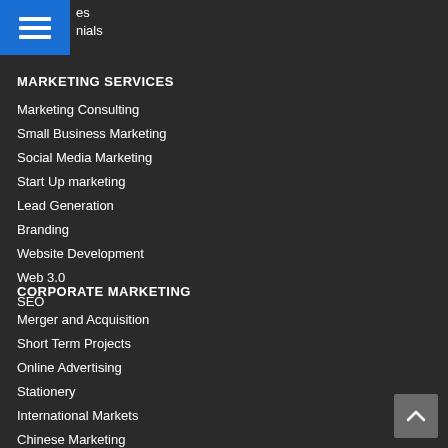es
nials
MARKETING SERVICES
Marketing Consulting
Small Business Marketing
Social Media Marketing
Start Up marketing
Lead Generation
Branding
Website Development
Web 3.0
SEO
CORPORATE MARKETING
Merger and Acquisition
Short Term Projects
Online Advertising
Stationery
International Markets
Chinese Marketing
Green Marketing